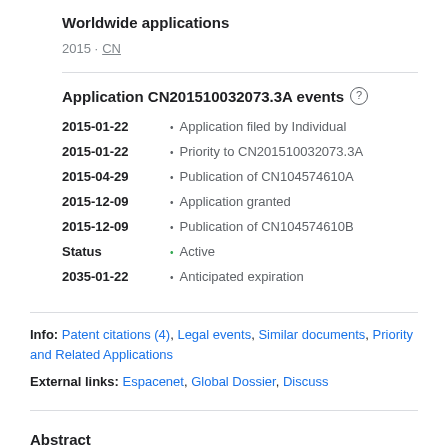Worldwide applications
2015 · CN
Application CN201510032073.3A events
2015-01-22 • Application filed by Individual
2015-01-22 • Priority to CN201510032073.3A
2015-04-29 • Publication of CN104574610A
2015-12-09 • Application granted
2015-12-09 • Publication of CN104574610B
Status • Active
2035-01-22 • Anticipated expiration
Info: Patent citations (4), Legal events, Similar documents, Priority and Related Applications
External links: Espacenet, Global Dossier, Discuss
Abstract